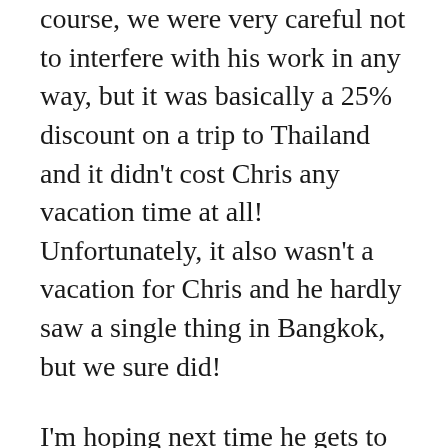course, we were very careful not to interfere with his work in any way, but it was basically a 25% discount on a trip to Thailand and it didn't cost Chris any vacation time at all! Unfortunately, it also wasn't a vacation for Chris and he hardly saw a single thing in Bangkok, but we sure did!
I'm hoping next time he gets to go someplace cool, we'll join him midweek and have him stay a couple extra days. This way he uses some vacation time, gets to relax, but doesn't need any PTO for the